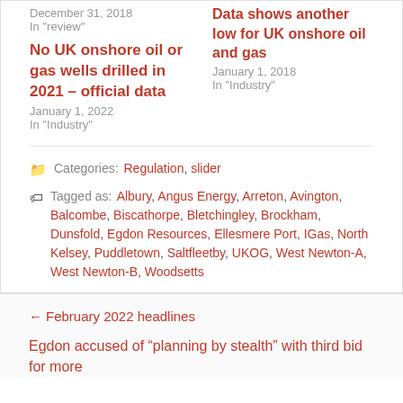December 31, 2018
In "review"
Data shows another low for UK onshore oil and gas
January 1, 2018
In "Industry"
No UK onshore oil or gas wells drilled in 2021 – official data
January 1, 2022
In "Industry"
Categories: Regulation, slider
Tagged as: Albury, Angus Energy, Arreton, Avington, Balcombe, Biscathorpe, Bletchingley, Brockham, Dunsfold, Egdon Resources, Ellesmere Port, IGas, North Kelsey, Puddletown, Saltfleetby, UKOG, West Newton-A, West Newton-B, Woodsetts
← February 2022 headlines
Egdon accused of "planning by stealth" with third bid for more